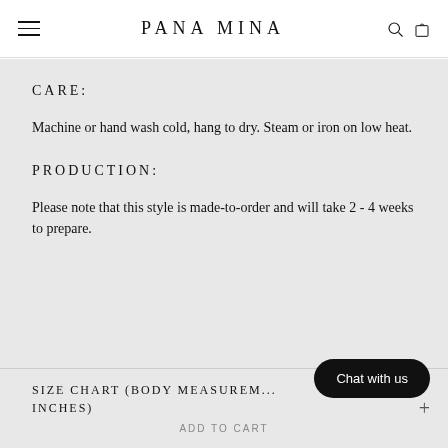PANA MINA
CARE:
Machine or hand wash cold, hang to dry. Steam or iron on low heat.
PRODUCTION:
Please note that this style is made-to-order and will take 2 - 4 weeks to prepare.
SIZE CHART (BODY MEASUREMENTS IN INCHES)